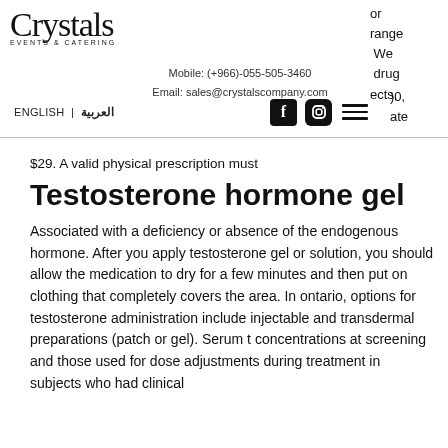Crystals Events & Catering — Mobile: (+966)-055-505-3460 — Email: sales@crystalscompany.com — ENGLISH | العربية
or range We drug ects, )0, ate
$29. A valid physical prescription must
Testosterone hormone gel
Associated with a deficiency or absence of the endogenous hormone. After you apply testosterone gel or solution, you should allow the medication to dry for a few minutes and then put on clothing that completely covers the area. In ontario, options for testosterone administration include injectable and transdermal preparations (patch or gel). Serum t concentrations at screening and those used for dose adjustments during treatment in subjects who had clinical